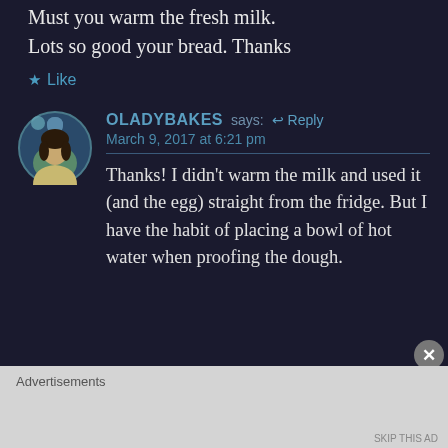Must you warm the fresh milk. Lots so good your bread. Thanks
★ Like
OLADYBAKES says: ↩ Reply
March 9, 2017 at 6:21 pm
Thanks! I didn't warm the milk and used it (and the egg) straight from the fridge. But I have the habit of placing a bowl of hot water when proofing the dough.
Advertisements
SKIP THIS AD